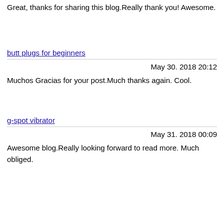Great, thanks for sharing this blog.Really thank you! Awesome.
butt plugs for beginners
May 30. 2018 20:12
Muchos Gracias for your post.Much thanks again. Cool.
g-spot vibrator
May 31. 2018 00:09
Awesome blog.Really looking forward to read more. Much obliged.